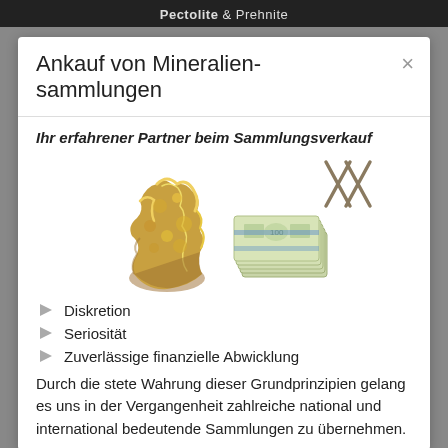Pectolite & Prehnite
Ankauf von Mineralien-sammlungen
Ihr erfahrener Partner beim Sammlungsverkauf
[Figure (illustration): Gold nugget mineral specimen on left, decorative crossed lines logo mark (WW/XX shape) on upper right, stack of dollar bills on lower right]
Diskretion
Seriosität
Zuverlässige finanzielle Abwicklung
Durch die stete Wahrung dieser Grundprinzipien gelang es uns in der Vergangenheit zahlreiche national und international bedeutende Sammlungen zu übernehmen.